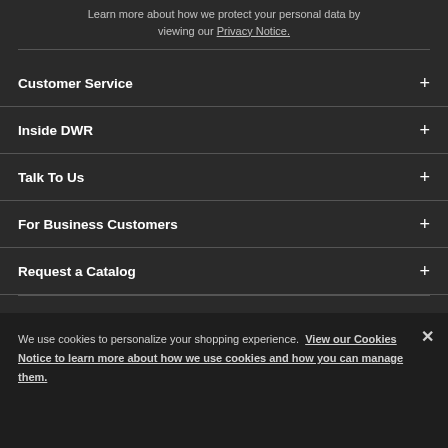Learn more about how we protect your personal data by viewing our Privacy Notice.
Customer Service +
Inside DWR +
Talk To Us +
For Business Customers +
Request a Catalog +
We use cookies to personalize your shopping experience. View our Cookies Notice to learn more about how we use cookies and how you can manage them.